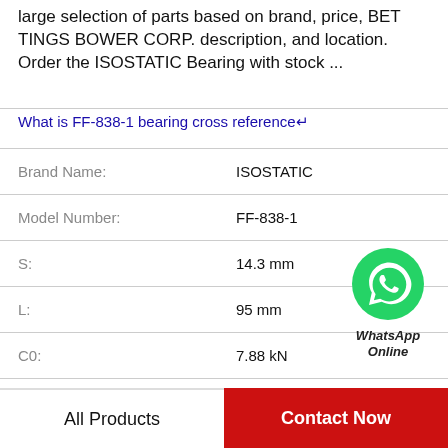large selection of parts based on brand, price, BETT INGS BOWER CORP. description, and location. Order the ISOSTATIC Bearing with stock ...
What is FF-838-1 bearing cross reference↵
|  |  |
| --- | --- |
| Brand Name: | ISOSTATIC |
| Model Number: | FF-838-1 |
| S: | 14.3 mm |
| L: | 95 mm |
| C0: | 7.88 kN |
| C: | 14 kN |
| G: | R1/8" |
[Figure (logo): WhatsApp Online green phone icon with text 'WhatsApp Online']
All Products
Contact Now